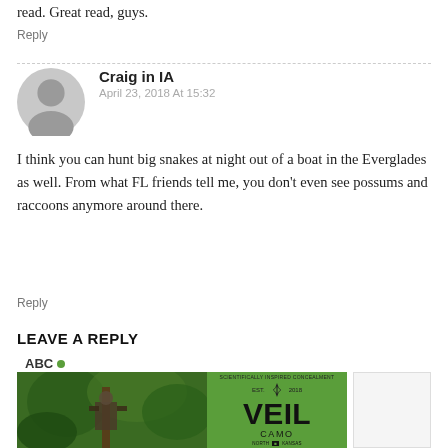read. Great read, guys.
Reply
Craig in IA
April 23, 2018 At 15:32
I think you can hunt big snakes at night out of a boat in the Everglades as well. From what FL friends tell me, you don't even see possums and raccoons anymore around there.
Reply
LEAVE A REPLY
[Figure (photo): Advertisement showing a hunter in a tree stand in camouflage gear alongside a green VEIL CAMO brand logo panel]